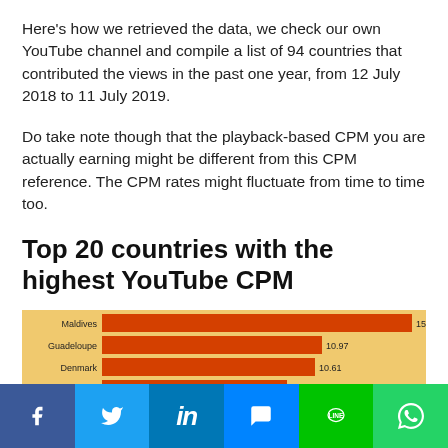Here's how we retrieved the data, we check our own YouTube channel and compile a list of 94 countries that contributed the views in the past one year, from 12 July 2018 to 11 July 2019.
Do take note though that the playback-based CPM you are actually earning might be different from this CPM reference. The CPM rates might fluctuate from time to time too.
Top 20 countries with the highest YouTube CPM
[Figure (bar-chart): Top 20 countries with the highest YouTube CPM]